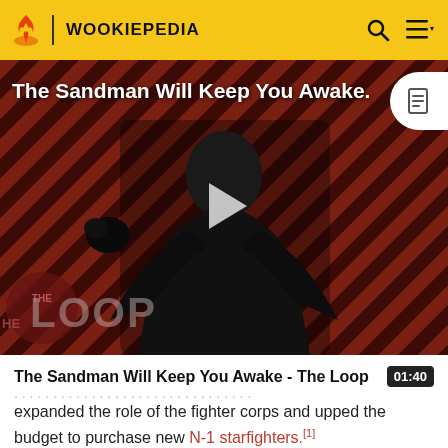WOOKIEPEDIA
[Figure (screenshot): Video thumbnail for 'The Sandman Will Keep You Awake - The Loop' showing a dark-cloaked figure against a red diagonal striped background with 'THE LOOP' text overlay and a play button in the center.]
The Sandman Will Keep You Awake - The Loop  01:40
expanded the role of the fighter corps and upped the budget to purchase new N-1 starfighters.[1]